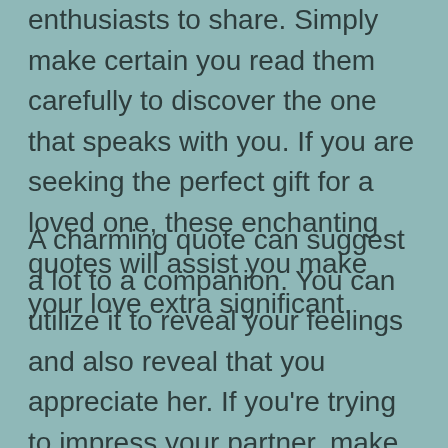enthusiasts to share. Simply make certain you read them carefully to discover the one that speaks with you. If you are seeking the perfect gift for a loved one, these enchanting quotes will assist you make your love extra significant.
A charming quote can suggest a lot to a companion. You can utilize it to reveal your feelings and also reveal that you appreciate her. If you're trying to impress your partner, make use of an enchanting quote that makes her smile! It's a perfect means to say I like you. And also it's a great means to reveal your lover how much you care. So don't await your next